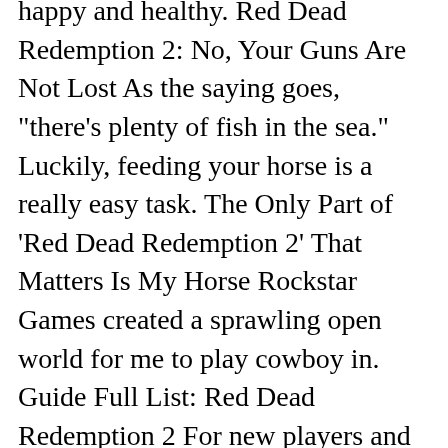happy and healthy. Red Dead Redemption 2: No, Your Guns Are Not Lost As the saying goes, "there's plenty of fish in the sea." Luckily, feeding your horse is a really easy task. The Only Part of 'Red Dead Redemption 2' That Matters Is My Horse Rockstar Games created a sprawling open world for me to play cowboy in. Guide Full List: Red Dead Redemption 2 For new players and veterans as well that want to complete at 100% the game, I prepared a list of professional tutorials they can find useful. Also, if predators or gun fire scares your ride, which is a pretty common occurrence in Red Dead Redemption 2, you can calm it down while riding by pressing L3. Below, we have a guide for feeding your horse in Red Dead Redemption 2. Horse bonding in Red Dead Redemption 2 has a couple of different purposes. So don't sleep on it! Your horse will get dirty over time